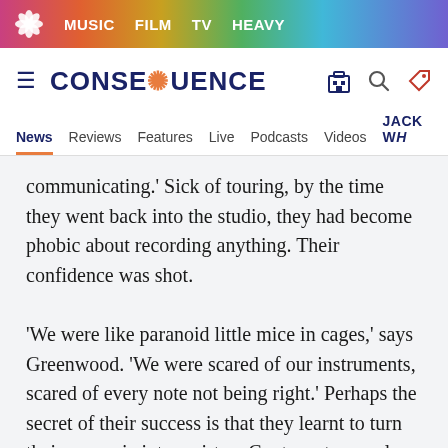MUSIC  FILM  TV  HEAVY
CONSEQUENCE
News  Reviews  Features  Live  Podcasts  Videos  JACK WH...
communicating.' Sick of touring, by the time they went back into the studio, they had become phobic about recording anything. Their confidence was shot.
'We were like paranoid little mice in cages,' says Greenwood. 'We were scared of our instruments, scared of every note not being right.' Perhaps the secret of their success is that they learnt to turn their paranoia into a virtue. Contrary to popular wisdom, it's often a band's second album that proves to be their most natural and direct expression where they shake off